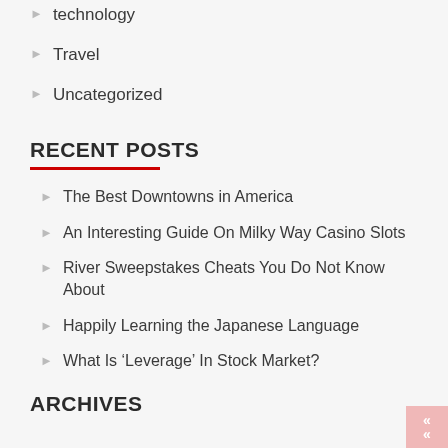technology
Travel
Uncategorized
RECENT POSTS
The Best Downtowns in America
An Interesting Guide On Milky Way Casino Slots
River Sweepstakes Cheats You Do Not Know About
Happily Learning the Japanese Language
What Is 'Leverage' In Stock Market?
ARCHIVES